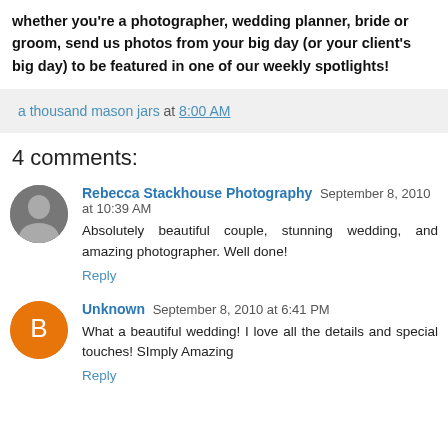whether you're a photographer, wedding planner, bride or groom, send us photos from your big day (or your client's big day) to be featured in one of our weekly spotlights!
a thousand mason jars at 8:00 AM
4 comments:
Rebecca Stackhouse Photography September 8, 2010 at 10:39 AM
Absolutely beautiful couple, stunning wedding, and amazing photographer. Well done!
Reply
Unknown September 8, 2010 at 6:41 PM
What a beautiful wedding! I love all the details and special touches! SImply Amazing
Reply